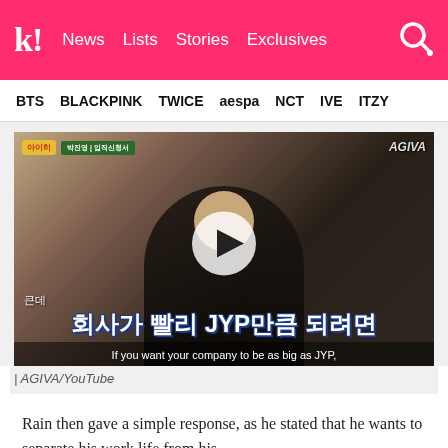k! News Lists Stories Exclusives
BTS BLACKPINK TWICE aespa NCT IVE ITZY
[Figure (screenshot): Video thumbnail showing a man in a suit at a desk, with Korean subtitles reading '회사가 빨리 JYP만큼 되려면' and English subtitle 'If you want your company to be as big as JYP,' with a play button overlay. AGIVA/YouTube branding visible.]
| AGIVA/YouTube
Rain then gave a simple response, as he stated that he wants to separate his work life from his